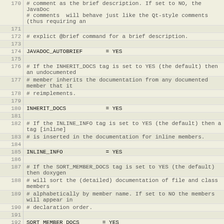| line | code |
| --- | --- |
| 170 | # comment as the brief description. If set to NO, the JavaDoc |
| 171 | # comments  will behave just like the Qt-style comments (thus requiring an |
| 172 | # explict @brief command for a brief description. |
| 173 |  |
| 174 | JAVADOC_AUTOBRIEF       = YES |
| 175 |  |
| 176 | # If the INHERIT_DOCS tag is set to YES (the default) then an undocumented |
| 177 | # member inherits the documentation from any documented member that it |
| 178 | # reimplements. |
| 179 |  |
| 180 | INHERIT_DOCS            = YES |
| 181 |  |
| 182 | # If the INLINE_INFO tag is set to YES (the default) then a tag [inline] |
| 183 | # is inserted in the documentation for inline members. |
| 184 |  |
| 185 | INLINE_INFO             = YES |
| 186 |  |
| 187 | # If the SORT_MEMBER_DOCS tag is set to YES (the default) then doxygen |
| 188 | # will sort the (detailed) documentation of file and class members |
| 189 | # alphabetically by member name. If set to NO the members will appear in |
| 190 | # declaration order. |
| 191 |  |
| 192 | SORT_MEMBER_DOCS       = YES |
| 193 |  |
| 194 | # If member grouping is used in the documentation and the DISTRIBUTE_GROUP_DOC |
| 195 | # is set to YES, then doxygen will reuse the |